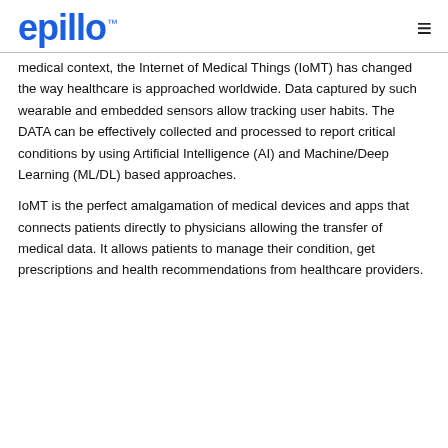epillo ™
medical context, the Internet of Medical Things (IoMT) has changed the way healthcare is approached worldwide. Data captured by such wearable and embedded sensors allow tracking user habits. The DATA can be effectively collected and processed to report critical conditions by using Artificial Intelligence (AI) and Machine/Deep Learning (ML/DL) based approaches.
IoMT is the perfect amalgamation of medical devices and apps that connects patients directly to physicians allowing the transfer of medical data. It allows patients to manage their condition, get prescriptions and health recommendations from healthcare providers.